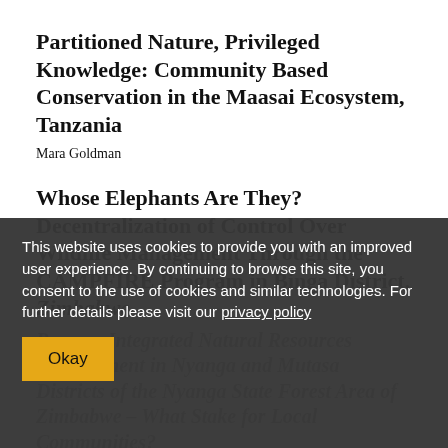Partitioned Nature, Privileged Knowledge: Community Based Conservation in the Maasai Ecosystem, Tanzania
Mara Goldman
Whose Elephants Are They? Decentralization of Control Over Wildlife Management Through the CAMPFIRE Program in Binga District, Zimbabwe
Pungwe Integrated Natural Resources Management in Nyanga and Mutasa Districts of the Nyanga State Forest Area of Zimbabwe – What Stake for Local Communities?
Everisto Mapedza and Alois Mandondo
This website uses cookies to provide you with an improved user experience. By continuing to browse this site, you consent to the use of cookies and similar technologies. For further details please visit our privacy policy